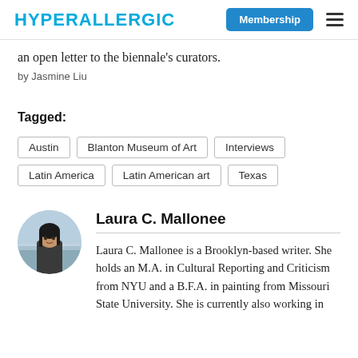HYPERALLERGIC | Membership
an open letter to the biennale's curators.
by Jasmine Liu
Tagged: Austin | Blanton Museum of Art | Interviews | Latin America | Latin American art | Texas
[Figure (photo): Circular avatar photo of Laura C. Mallonee, a woman with dark hair standing outdoors near water]
Laura C. Mallonee
Laura C. Mallonee is a Brooklyn-based writer. She holds an M.A. in Cultural Reporting and Criticism from NYU and a B.F.A. in painting from Missouri State University. She is currently also working in